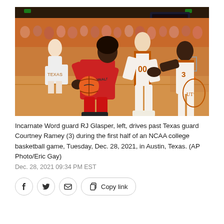[Figure (photo): Basketball game photo: Incarnate Word guard RJ Glasper in red Cardinals uniform drives toward the basket with the ball, pursued by two Texas Longhorns players in white and orange uniforms, including player number 00, in an indoor arena with orange court and crowded stands.]
Incarnate Word guard RJ Glasper, left, drives past Texas guard Courtney Ramey (3) during the first half of an NCAA college basketball game, Tuesday, Dec. 28, 2021, in Austin, Texas. (AP Photo/Eric Gay)
Dec. 28, 2021 09:34 PM EST